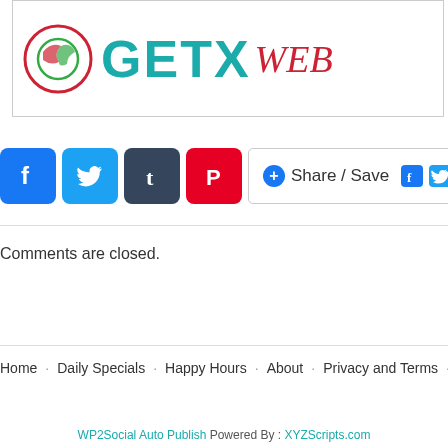[Figure (logo): Website logo showing a circular icon with red/green design and 'GETX' text in teal with 'WEB' in red italic]
[Figure (screenshot): Social sharing buttons row: Facebook (blue), Twitter (blue), Tumblr (dark), Pinterest (red) icon buttons, plus a Share/Save button with Facebook and Twitter icons]
Comments are closed.
Home   Daily Specials   Happy Hours   About   Privacy and Terms   Sub...
WP2Social Auto Publish Powered By : XYZScripts.com